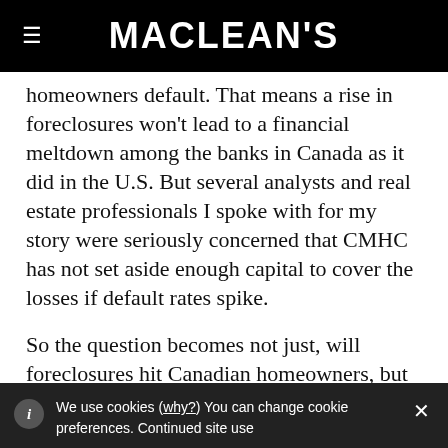MACLEAN'S
homeowners default. That means a rise in foreclosures won't lead to a financial meltdown among the banks in Canada as it did in the U.S. But several analysts and real estate professionals I spoke with for my story were seriously concerned that CMHC has not set aside enough capital to cover the losses if default rates spike.
So the question becomes not just, will foreclosures hit Canadian homeowners, but
We use cookies (why?) You can change cookie preferences. Continued site use